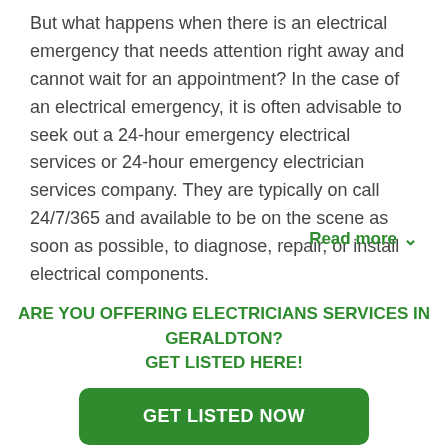But what happens when there is an electrical emergency that needs attention right away and cannot wait for an appointment? In the case of an electrical emergency, it is often advisable to seek out a 24-hour emergency electrical services or 24-hour emergency electrician services company. They are typically on call 24/7/365 and available to be on the scene as soon as possible, to diagnose, repair, or install electrical components.
Read more ∨
ARE YOU OFFERING ELECTRICIANS SERVICES IN GERALDTON?
GET LISTED HERE!
GET LISTED NOW